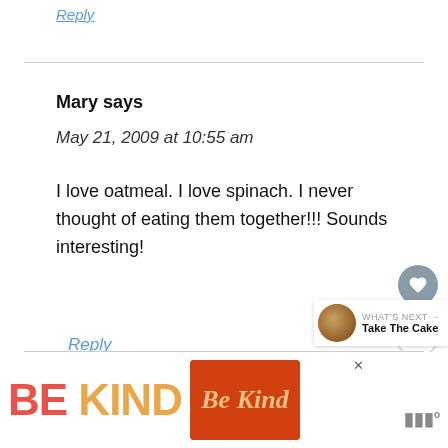Reply
Mary says
May 21, 2009 at 10:55 am
I love oatmeal. I love spinach. I never thought of eating them together!!! Sounds interesting!
Reply
[Figure (infographic): BE KIND advertisement with decorative script lettering and WW logo]
[Figure (infographic): WHAT'S NEXT arrow widget with food thumbnail and text Take The Cake]